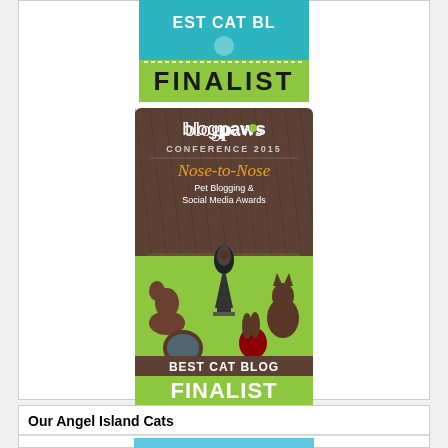[Figure (logo): Best Cat Blog Finalist badge - top portion cropped showing teal background with 'EST CAT BL' text visible and green banner with 'FINALIST' in black bold letters]
[Figure (logo): BlogPaws Conference 2015 Nose-to-Nose Pet Blogging & Social Media Awards badge showing chocolate animal figurines (dog, cat, rabbit, fish bowl) holding a crystal trophy, with 'BEST CAT BLOG FINALIST' text on green and brown background]
Our Angel Island Cats
[Figure (photo): Bottom portion of page showing a cat photo with blue/teal background, partially visible]